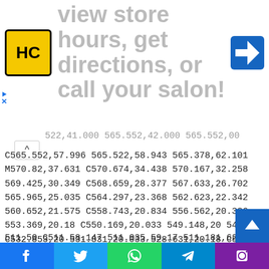[Figure (screenshot): Banner advertisement for a hair salon app showing HC logo, text 'view store hours, get directions, or call your salon!' and a navigation icon]
522,41.000 565.552,42.000 565.552,00
C565.552,57.996 565.522,58.943 565.378,62.101
M570.82,37.631 C570.674,34.438 570.167,32.258
569.425,30.349 C568.659,28.377 567.633,26.702
565.965,25.035 C564.297,23.368 562.623,22.342
560.652,21.575 C558.743,20.834 556.562,20.326
553.369,20.18 C550.169,20.033 549.148,20 541,20
C532.853,20 531.831,20.033 528.631,20.18 C525.438,20.326
523.257,20.834 521.349,21.575 C519.376,22.342
517.703,23.368 516.035,25.035 C514.368,26.702
513.342,28.377 512.574,30.349 C511.834,32.258
511.326,34.438 511.181,37.631 C511.035,40.831 511,41.8
511.50 C511.58.147 511.035,59.17 511.181,62.369